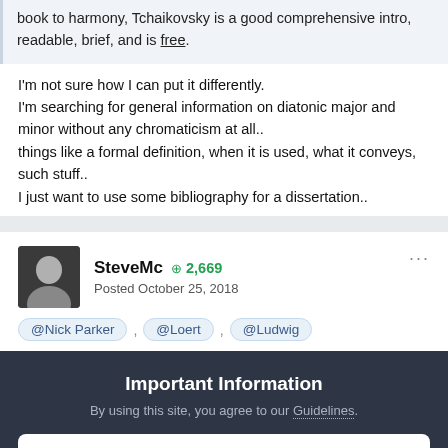book to harmony, Tchaikovsky is a good comprehensive intro, readable, brief, and is free.
I'm not sure how I can put it differently.
I'm searching for general information on diatonic major and minor without any chromaticism at all..
things like a formal definition, when it is used, what it conveys, such stuff..
I just want to use some bibliography for a dissertation..
SteveMc +2,669 Posted October 25, 2018
@Nick Parker , @Loert , @Ludwig
Important Information
By using this site, you agree to our Guidelines.
✔ I accept